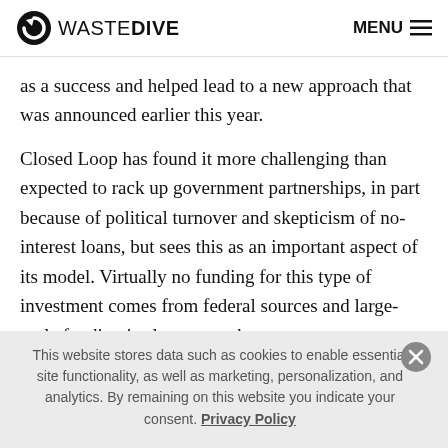WASTE DIVE | MENU
as a success and helped lead to a new approach that was announced earlier this year.
Closed Loop has found it more challenging than expected to rack up government partnerships, in part because of political turnover and skepticism of no-interest loans, but sees this as an important aspect of its model. Virtually no funding for this type of investment comes from federal sources and large-scale funding is also rare at the state
This website stores data such as cookies to enable essential site functionality, as well as marketing, personalization, and analytics. By remaining on this website you indicate your consent. Privacy Policy